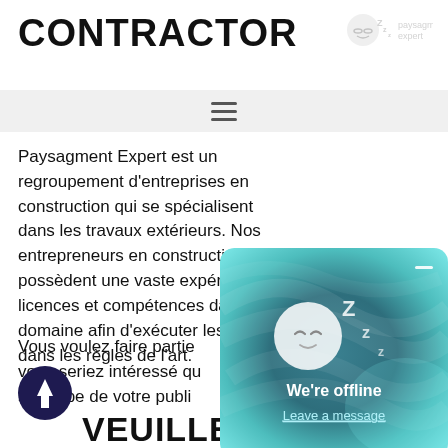CONTRACTOR
Paysagment Expert est un regroupement d'entreprises en construction qui se spécialisent dans les travaux extérieurs. Nos entrepreneurs en construction possèdent une vaste expérience, licences et compétences dans leur domaine afin d'exécuter les travaux dans les règles de l'art.
Vous voulez faire partie... vous seriez intéressé qu... s'occupe de votre publi... soumissions, facturation... plaisir de vous rencontr... avantages de faire parti...
[Figure (screenshot): We're offline chat popup with sleeping face emoji, minimize button, and 'Leave a message' link on a teal/blue swirling background]
[Figure (other): Dark navy circular scroll-to-top button with upward arrow]
VEUILLEZ REMPLIR LE